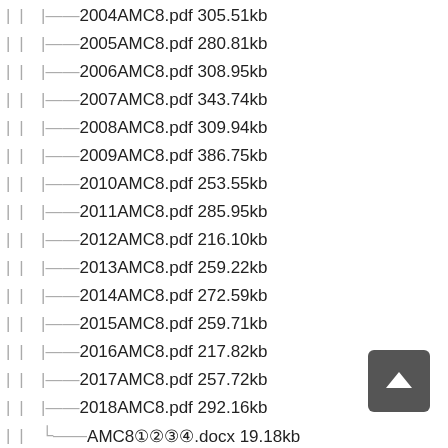| |  |——2004AMC8.pdf 305.51kb
| |  |——2005AMC8.pdf 280.81kb
| |  |——2006AMC8.pdf 308.95kb
| |  |——2007AMC8.pdf 343.74kb
| |  |——2008AMC8.pdf 309.94kb
| |  |——2009AMC8.pdf 386.75kb
| |  |——2010AMC8.pdf 253.55kb
| |  |——2011AMC8.pdf 285.95kb
| |  |——2012AMC8.pdf 216.10kb
| |  |——2013AMC8.pdf 259.22kb
| |  |——2014AMC8.pdf 272.59kb
| |  |——2015AMC8.pdf 259.71kb
| |  |——2016AMC8.pdf 217.82kb
| |  |——2017AMC8.pdf 257.72kb
| |  |——2018AMC8.pdf 292.16kb
| |  └——AMC8（目录）.docx 19.18kb